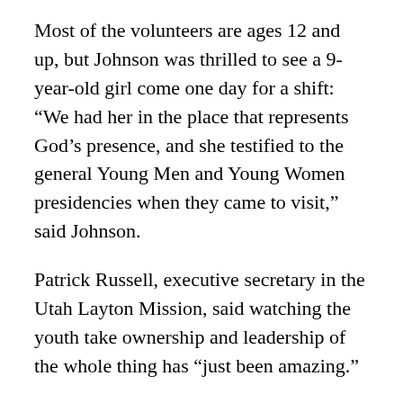Most of the volunteers are ages 12 and up, but Johnson was thrilled to see a 9-year-old girl come one day for a shift: “We had her in the place that represents God’s presence, and she testified to the general Young Men and Young Women presidencies when they came to visit,” said Johnson.
Patrick Russell, executive secretary in the Utah Layton Mission, said watching the youth take ownership and leadership of the whole thing has “just been amazing.”
“The young single adults are so capable and… They’re so hard in what they do…